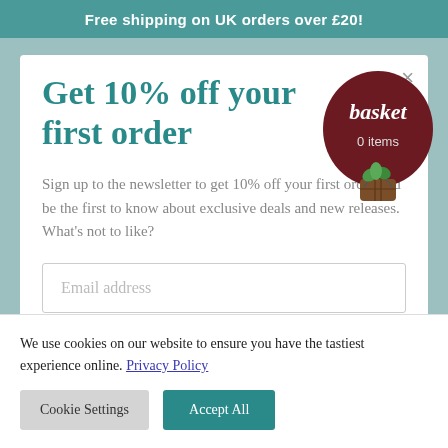Free shipping on UK orders over £20!
Get 10% off your first order
[Figure (illustration): Hot air balloon shaped basket badge with text 'basket' and '0 items']
Sign up to the newsletter to get 10% off your first order and be the first to know about exclusive deals and new releases. What's not to like?
Email address
We use cookies on our website to ensure you have the tastiest experience online. Privacy Policy
Cookie Settings
Accept All